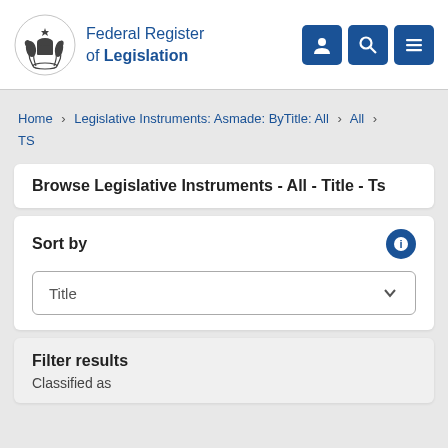Federal Register of Legislation
Home > Legislative Instruments: Asmade: ByTitle: All > All > TS
Browse Legislative Instruments - All - Title - Ts
Sort by
Title
Filter results
Classified as